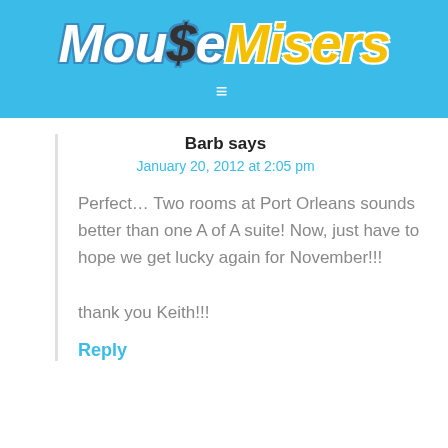[Figure (logo): MouseMisers website logo with colorful text on blue background header, with hamburger menu icon below]
Barb says
January 20, 2012 at 2:05 pm
Perfect… Two rooms at Port Orleans sounds better than one A of A suite! Now, just have to hope we get lucky again for November!!!

thank you Keith!!!
Reply